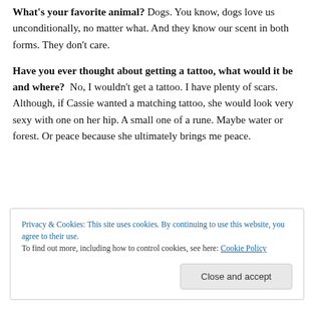What's your favorite animal? Dogs. You know, dogs love us unconditionally, no matter what. And they know our scent in both forms. They don't care.
Have you ever thought about getting a tattoo, what would it be and where? No, I wouldn't get a tattoo. I have plenty of scars. Although, if Cassie wanted a matching tattoo, she would look very sexy with one on her hip. A small one of a rune. Maybe water or forest. Or peace because she ultimately brings me peace.
Privacy & Cookies: This site uses cookies. By continuing to use this website, you agree to their use. To find out more, including how to control cookies, see here: Cookie Policy